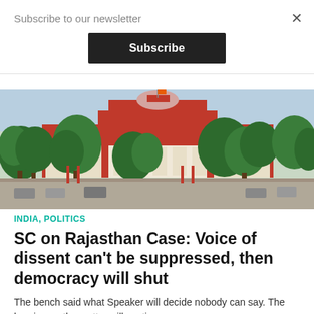Subscribe to our newsletter
Subscribe
[Figure (photo): Photograph of a red and white government/court building with trees in the foreground and a blue sky background, likely the Supreme Court of India]
INDIA, POLITICS
SC on Rajasthan Case: Voice of dissent can't be suppressed, then democracy will shut
The bench said what Speaker will decide nobody can say. The hearing on the matter will continue.
BY IANS